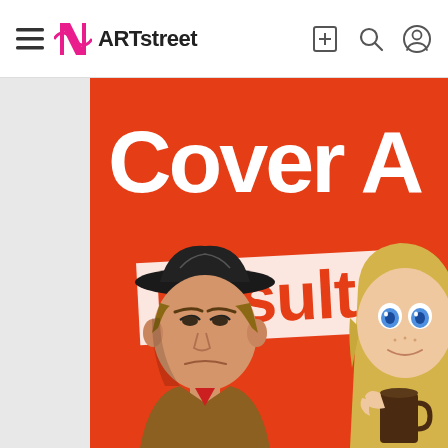≡ ARTstreet
[Figure (illustration): ARTstreet website screenshot showing a navigation bar at top with hamburger menu, ARTstreet logo (stylized N icon in pink and black text), and icons on the right (bookmark, search, profile). Below is a large banner image with orange-red background showing 'Cover A' in large white bold text and 'Results' in large red bold text on a white banner strip, with manga-style illustrated characters at the bottom: a male detective character wearing a cap on the left and a blonde female character with leaf crown on the right.]